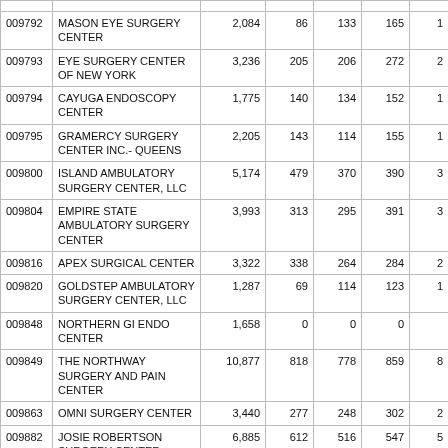| Code | Name | Col3 | Col4 | Col5 | Col6 | Col7 |
| --- | --- | --- | --- | --- | --- | --- |
| 009792 | MASON EYE SURGERY CENTER | 2,084 | 86 | 133 | 165 | 1 |
| 009793 | EYE SURGERY CENTER OF NEW YORK | 3,236 | 205 | 206 | 272 | 2 |
| 009794 | CAYUGA ENDOSCOPY CENTER | 1,775 | 140 | 134 | 152 | 1 |
| 009795 | GRAMERCY SURGERY CENTER INC.- QUEENS | 2,205 | 143 | 114 | 155 | 1 |
| 009800 | ISLAND AMBULATORY SURGERY CENTER, LLC | 5,174 | 479 | 370 | 390 | 3 |
| 009804 | EMPIRE STATE AMBULATORY SURGERY CENTER | 3,993 | 313 | 295 | 391 | 3 |
| 009816 | APEX SURGICAL CENTER | 3,322 | 338 | 264 | 284 | 2 |
| 009820 | GOLDSTEP AMBULATORY SURGERY CENTER, LLC | 1,287 | 69 | 114 | 123 | 1 |
| 009848 | NORTHERN GI ENDO CENTER | 1,658 | 0 | 0 | 0 |  |
| 009849 | THE NORTHWAY SURGERY AND PAIN CENTER | 10,877 | 818 | 778 | 859 | 8 |
| 009863 | OMNI SURGERY CENTER | 3,440 | 277 | 248 | 302 | 2 |
| 009882 | JOSIE ROBERTSON SURGERY CENTER | 6,885 | 612 | 516 | 547 | 5 |
| 009892 | AMBULATORY SURGERY CENTER OF NIAGARA | 1,633 | 106 | 136 | 173 | 1 |